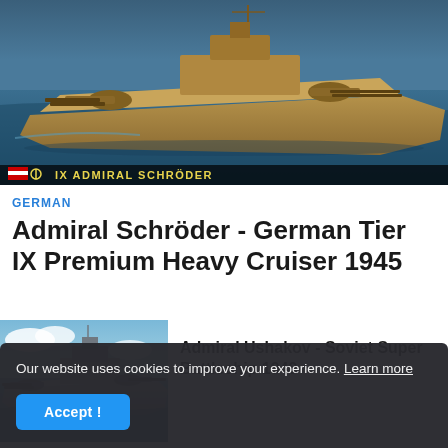[Figure (photo): World of Warships game screenshot of the Admiral Schröder German heavy cruiser sailing on blue ocean, sandy brown hull coloring, with overlay text 'IX ADMIRAL SCHRÖDER' and German flag icon]
GERMAN
Admiral Schröder - German Tier IX Premium Heavy Cruiser 1945
[Figure (photo): World of Warships game screenshot thumbnail of a gray battleship sailing on blue ocean water, the Admiral Ushakov Soviet Super Battleship]
Admiral Ushakov - Soviet Super Battleship 1949
Our website uses cookies to improve your experience. Learn more
Accept !